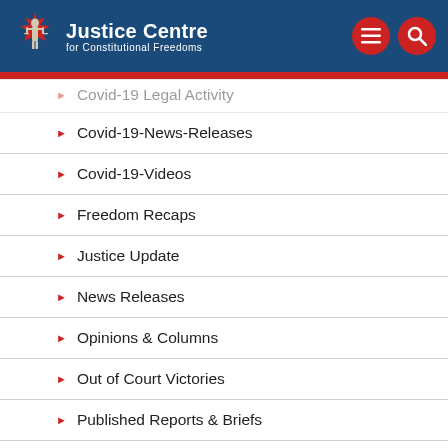[Figure (logo): Justice Centre for Constitutional Freedoms logo with lady justice figure on Canadian maple leaf, white text on dark blue header background, with red hamburger menu and search icon buttons]
Covid-19 Legal Activity
Covid-19-News-Releases
Covid-19-Videos
Freedom Recaps
Justice Update
News Releases
Opinions & Columns
Out of Court Victories
Published Reports & Briefs
Two minutes with the Justice Centre